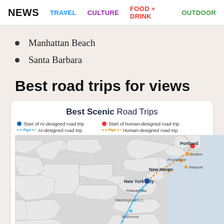NEWS  TRAVEL  CULTURE  FOOD + DRINK  OUTDOOR
Manhattan Beach
Santa Barbara
Best road trips for views
[Figure (map): Map titled 'Best Scenic Road Trips' showing AI-designed and human-designed road trip routes on the US East Coast. Blue dot marks start of AI-designed road trip (New York City), orange dot marks start of human-designed road trip (Portland). Blue route goes south through Philadelphia, Washington D.C., Richmond. Orange route goes northeast through Providence, Boston, Newport, New Haven. Legend explains dot and line colors.]